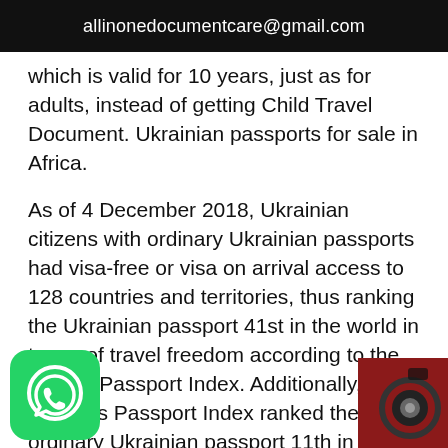allinonedocumentcare@gmail.com
which is valid for 10 years, just as for adults, instead of getting Child Travel Document. Ukrainian passports for sale in Africa.
As of 4 December 2018, Ukrainian citizens with ordinary Ukrainian passports had visa-free or visa on arrival access to 128 countries and territories, thus ranking the Ukrainian passport 41st in the world in terms of travel freedom according to the Henley Passport Index. Additionally, Arton Capital's Passport Index ranked the ordinary Ukrainian passport 11th in the world in terms of travel freedom, with a visa-free score of 111, as of 6 ber 2020. Ukrainian passports for sale in the
[Figure (logo): WhatsApp green logo icon, bottom left]
[Figure (logo): Camera/photo app icon, dark red, bottom right]